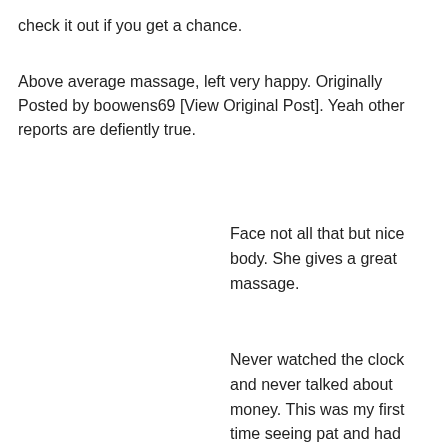check it out if you get a chance.
Above average massage, left very happy. Originally Posted by boowens69 [View Original Post]. Yeah other reports are defiently true.
Face not all that but nice body. She gives a great massage.
Never watched the clock and never talked about money. This was my first time seeing pat and had more then hi